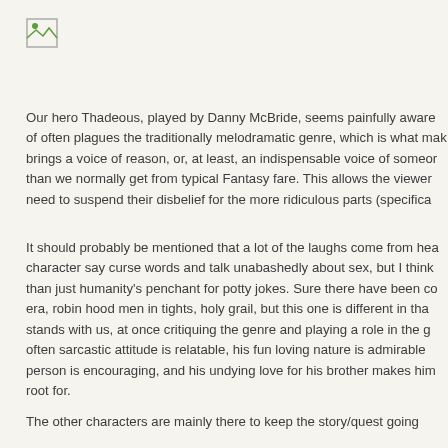[Figure (logo): Small broken image icon placeholder in top left corner]
Our hero Thadeous, played by Danny McBride, seems painfully aware of often plagues the traditionally melodramatic genre, which is what mak brings a voice of reason, or, at least, an indispensable voice of someor than we normally get from typical Fantasy fare. This allows the viewer need to suspend their disbelief for the more ridiculous parts (specifica
It should probably be mentioned that a lot of the laughs come from hea character say curse words and talk unabashedly about sex, but I think than just humanity's penchant for potty jokes. Sure there have been co era, robin hood men in tights, holy grail, but this one is different in tha stands with us, at once critiquing the genre and playing a role in the g often sarcastic attitude is relatable, his fun loving nature is admirable person is encouraging, and his undying love for his brother makes him root for.
The other characters are mainly there to keep the story/quest going